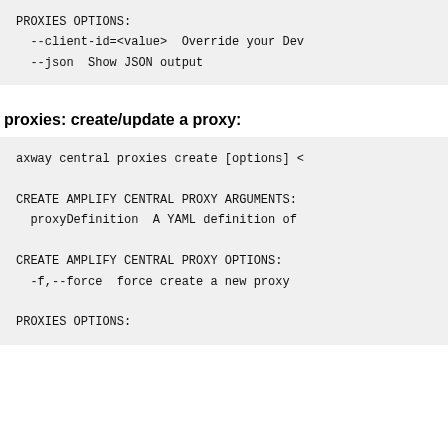PROXIES OPTIONS:
  --client-id=<value>  Override your Dev
  --json  Show JSON output
proxies: create/update a proxy:
axway central proxies create [options] <

CREATE AMPLIFY CENTRAL PROXY ARGUMENTS:
  proxyDefinition  A YAML definition of

CREATE AMPLIFY CENTRAL PROXY OPTIONS:
  -f,--force  force create a new proxy

PROXIES OPTIONS: